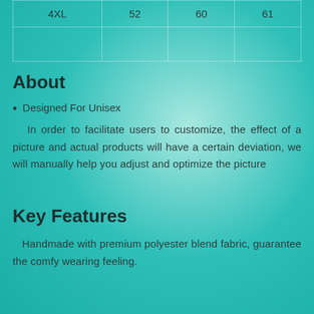| 4XL | 52 | 60 | 61 |
About
Designed For Unisex
In order to facilitate users to customize, the effect of a picture and actual products will have a certain deviation, we will manually help you adjust and optimize the picture
Key Features
Handmade with premium polyester blend fabric, guarantee the comfy wearing feeling.